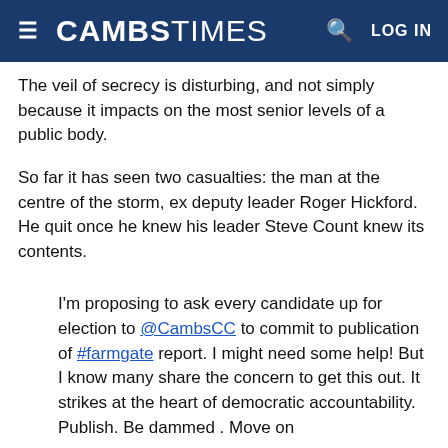CAMBS TIMES
The veil of secrecy is disturbing, and not simply because it impacts on the most senior levels of a public body.
So far it has seen two casualties: the man at the centre of the storm, ex deputy leader Roger Hickford. He quit once he knew his leader Steve Count knew its contents.
I'm proposing to ask every candidate up for election to @CambsCC to commit to publication of #farmgate report. I might need some help! But I know many share the concern to get this out. It strikes at the heart of democratic accountability. Publish. Be dammed . Move on